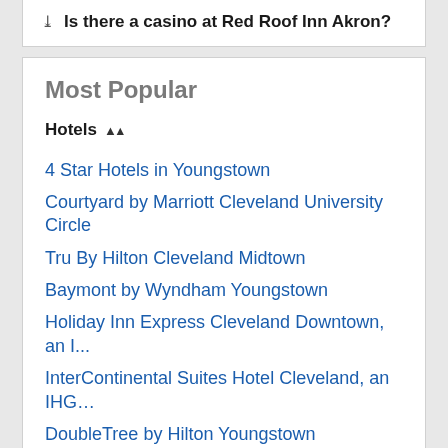Is there a casino at Red Roof Inn Akron?
Most Popular
Hotels
4 Star Hotels in Youngstown
Courtyard by Marriott Cleveland University Circle
Tru By Hilton Cleveland Midtown
Baymont by Wyndham Youngstown
Holiday Inn Express Cleveland Downtown, an I...
InterContinental Suites Hotel Cleveland, an IHG…
DoubleTree by Hilton Youngstown Downtown
Extended Stay Hotels Cuyahoga Falls
Hotels near Cleveland Metroparks Zoo
Hotels near Horseshoe Casino
Motel 6 Youngstown, OH
Hotels near Rock and Roll Hall of Fame